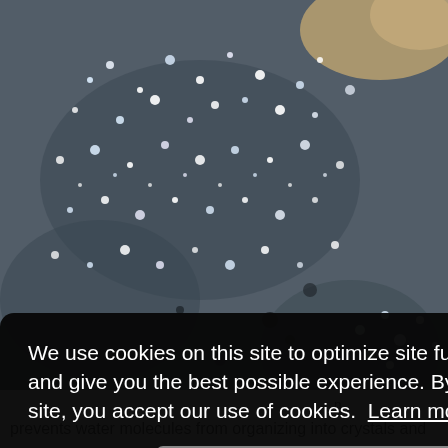[Figure (photo): Close-up photograph of frost or ice crystals on a dark rocky surface, with white crystalline formations scattered across grey-blue rock. A sandy/tan rock is visible in the upper right corner.]
n e fast- ature. Palmer
We use cookies on this site to optimize site functionality and give you the best possible experience. By using this site, you accept our use of cookies.  Learn more
Got it!
prevents water molecules from organizing into crystals and